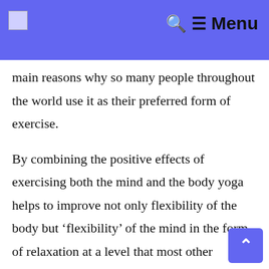Menu
main reasons why so many people throughout the world use it as their preferred form of exercise.
By combining the positive effects of exercising both the mind and the body yoga helps to improve not only flexibility of the body but ‘flexibility’ of the mind in the form of relaxation at a level that most other techniques cannot match.
More People Doing Yoga:
It is no wonder that more people are turning tow… yoga to reduce the effects of the hectic lifestyle that we